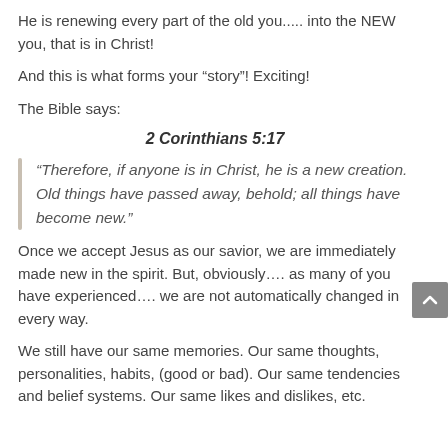He is renewing every part of the old you..... into the NEW you, that is in Christ!
And this is what forms your “story”! Exciting!
The Bible says:
2 Corinthians 5:17
“Therefore, if anyone is in Christ, he is a new creation. Old things have passed away, behold; all things have become new.”
Once we accept Jesus as our savior, we are immediately made new in the spirit. But, obviously…. as many of you have experienced…. we are not automatically changed in every way.
We still have our same memories. Our same thoughts, personalities, habits, (good or bad). Our same tendencies and belief systems. Our same likes and dislikes, etc.